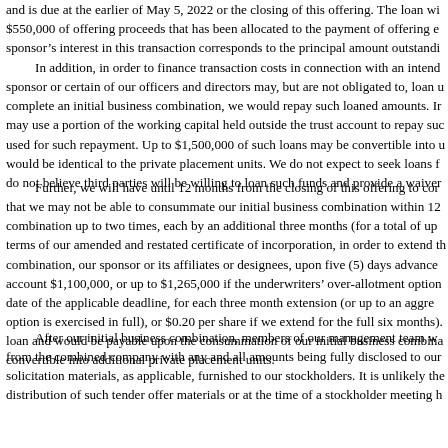and is due at the earlier of May 5, 2022 or the closing of this offering. The loan wi $550,000 of offering proceeds that has been allocated to the payment of offering e sponsor's interest in this transaction corresponds to the principal amount outstandi
In addition, in order to finance transaction costs in connection with an intend sponsor or certain of our officers and directors may, but are not obligated to, loan u complete an initial business combination, we would repay such loaned amounts. Ir may use a portion of the working capital held outside the trust account to repay suc used for such repayment. Up to $1,500,000 of such loans may be convertible into u would be identical to the private placement units. We do not expect to seek loans f do not believe third parties will be willing to loan such funds and provide a waiver
Further, we will have until 12 months from the closing of this offering to cor that we may not be able to consummate our initial business combination within 12 combination up to two times, each by an additional three months (for a total of up terms of our amended and restated certificate of incorporation, in order to extend th combination, our sponsor or its affiliates or designees, upon five (5) days advance account $1,100,000, or up to $1,265,000 if the underwriters' over-allotment option date of the applicable deadline, for each three month extension (or up to an aggre option is exercised in full), or $0.20 per share if we extend for the full six months). loan and would be payable upon the consummation of our initial business combina convertible into additional private placement units.
After our initial business combination, members of our management team w from the combined company with any and all amounts being fully disclosed to our solicitation materials, as applicable, furnished to our stockholders. It is unlikely the distribution of such tender offer materials or at the time of a stockholder meeting h